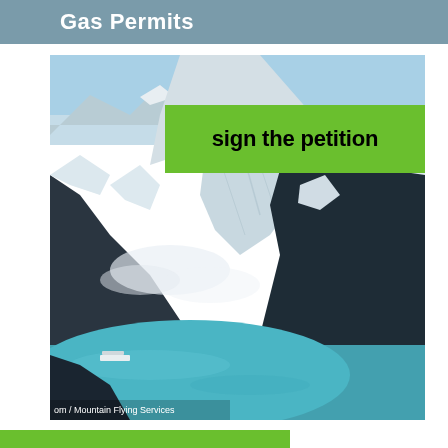Gas Permits
[Figure (photo): Aerial photograph of a glacier flowing between snow-covered mountains into a blue-green fjord, with a small vessel visible on the water. Photo credit: om / Mountain Flying Services]
sign the petition
om / Mountain Flying Services